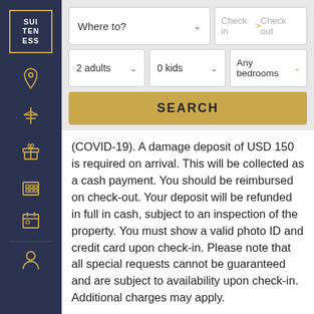[Figure (screenshot): Sidebar with dark navy background showing SUITENESS logo and navigation icons in gold]
[Figure (screenshot): Hotel search interface with Where to?, Check in, Check out, 2 adults, 0 kids, Any bedrooms dropdowns and SEARCH button]
(COVID-19). A damage deposit of USD 150 is required on arrival. This will be collected as a cash payment. You should be reimbursed on check-out. Your deposit will be refunded in full in cash, subject to an inspection of the property. You must show a valid photo ID and credit card upon check-in. Please note that all special requests cannot be guaranteed and are subject to availability upon check-in. Additional charges may apply.
4 suites at Best Western Executive Inn